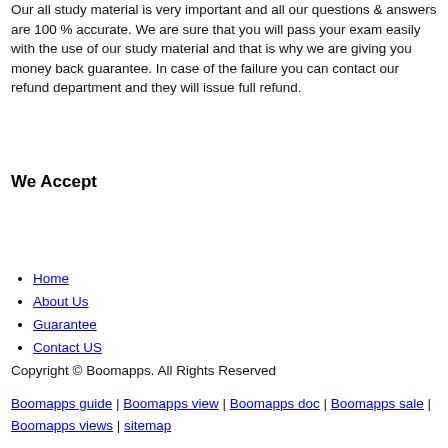Our all study material is very important and all our questions & answers are 100 % accurate. We are sure that you will pass your exam easily with the use of our study material and that is why we are giving you money back guarantee. In case of the failure you can contact our refund department and they will issue full refund.
We Accept
Home
About Us
Guarantee
Contact US
Copyright © Boomapps. All Rights Reserved
Boomapps guide | Boomapps view | Boomapps doc | Boomapps sale | Boomapps views | sitemap